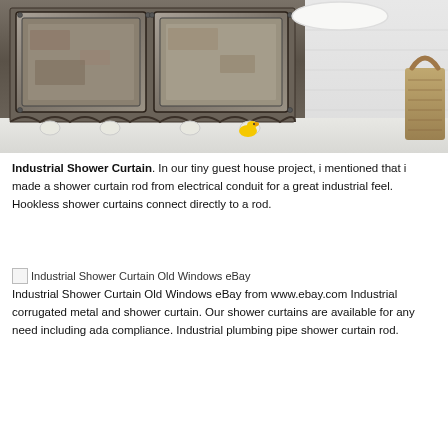[Figure (photo): Industrial-style shower curtain showing a cabinet with old metal panel doors on a claw-foot tub, with yellow rubber duck on white floor. Right side shows white bathtub rim, brick wall, and wicker basket.]
Industrial Shower Curtain. In our tiny guest house project, i mentioned that i made a shower curtain rod from electrical conduit for a great industrial feel. Hookless shower curtains connect directly to a rod.
Industrial Shower Curtain Old Windows eBay
Industrial Shower Curtain Old Windows eBay from www.ebay.com Industrial corrugated metal and shower curtain. Our shower curtains are available for any need including ada compliance. Industrial plumbing pipe shower curtain rod.